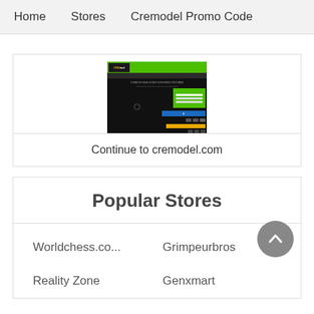Home   Stores   Cremodel Promo Code
[Figure (screenshot): Screenshot of cremodel.com website showing dark background with green and yellow elements]
Continue to cremodel.com
Popular Stores
Worldchess.co...
Grimpeurbros
Reality Zone
Genxmart